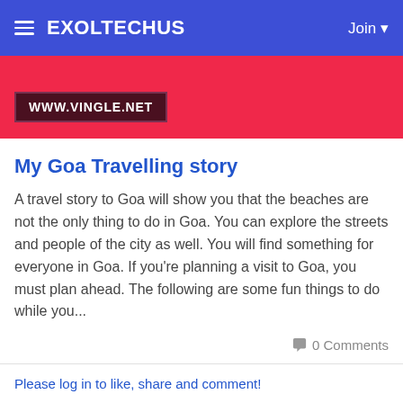EXOLTECHUS  Join
[Figure (screenshot): Pink banner with www.vingle.net label]
My Goa Travelling story
A travel story to Goa will show you that the beaches are not the only thing to do in Goa. You can explore the streets and people of the city as well. You will find something for everyone in Goa. If you're planning a visit to Goa, you must plan ahead. The following are some fun things to do while you...
0 Comments
Please log in to like, share and comment!
Nsn Hotels shared a link
10 minutes ago -